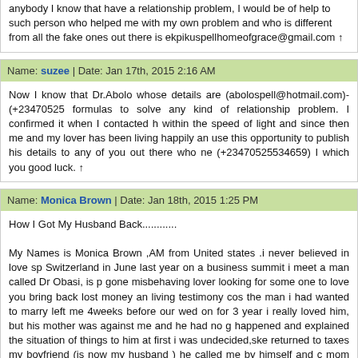anybody I know that have a relationship problem, I would be of help to such person who helped me with my own problem and who is different from all the fake ones out there is ekpikuspellhomeofgrace@gmail.com ↑
Name: suzee | Date: Jan 17th, 2015 2:16 AM
Now I know that Dr.Abolo whose details are (abolospell@hotmail.com)-(+23470525... formulas to solve any kind of relationship problem. I confirmed it when I contacted him within the speed of light and since then me and my lover has been living happily and use this opportunity to publish his details to any of you out there who ne (+23470525534659) I which you good luck. ↑
Name: Monica Brown | Date: Jan 18th, 2015 1:25 PM
How I Got My Husband Back............

My Names is Monica Brown ,AM from United states .i never believed in love spe Switzerland in June last year on a business summit i meet a man called Dr Obasi, is p gone misbehaving lover looking for some one to love you bring back lost money and living testimony cos the man i had wanted to marry left me 4weeks before our wedd on for 3 year i really loved him, but his mother was against me and he had no go happened and explained the situation of things to him at first i was undecided,skep returned to taxes my boyfriend (is now my husband ) he called me by himself and ca mom and family and he got a new job interview so we should get married i didnâ€™ boyfriends name and all i wanted him to do well we are happily married now and we and our lives became much better in case anyone needs the spell caster for some help
Name: Dr Lanido Okira | Date: Jan 19th, 2015 11:09 AM